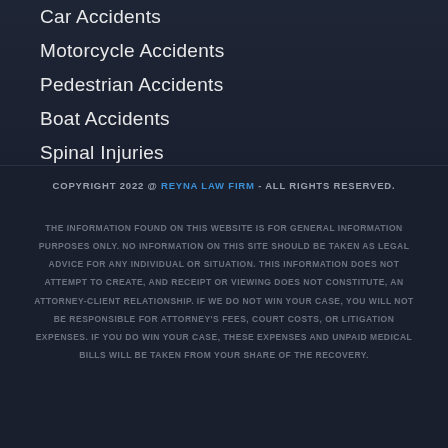Car Accidents
Motorcycle Accidents
Pedestrian Accidents
Boat Accidents
Spinal Injuries
COPYRIGHT 2022 @ REYNA LAW FIRM - ALL RIGHTS RESERVED.
THE INFORMATION FOUND ON THIS WEBSITE IS FOR GENERAL INFORMATION PURPOSES ONLY. NO INFORMATION ON THIS SITE SHOULD BE TAKEN AS LEGAL ADVICE FOR ANY INDIVIDUAL OR SITUATION. THIS INFORMATION DOES NOT ATTEMPT TO CREATE, AND RECEIPT OR VIEWING DOES NOT CONSTITUTE, AN ATTORNEY-CLIENT RELATIONSHIP. IF WE DO NOT WIN YOUR CASE, YOU WILL NOT BE RESPONSIBLE FOR ATTORNEY'S FEES, COURT COSTS, OR LITIGATION EXPENSES. IF YOU DO WIN YOUR CASE, THESE EXPENSES AND UNPAID MEDICAL BILLS WILL BE TAKEN FROM YOUR SHARE OF THE RECOVERY.